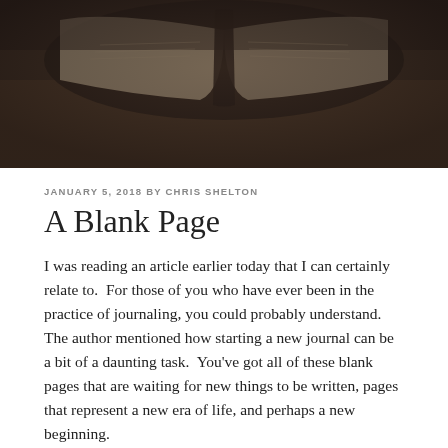[Figure (photo): Dark sepia-toned photograph of an open book resting on a wooden surface, viewed from above at an angle. The image has a vintage, moody aesthetic with dark tones.]
JANUARY 5, 2018 BY CHRIS SHELTON
A Blank Page
I was reading an article earlier today that I can certainly relate to.  For those of you who have ever been in the practice of journaling, you could probably understand.  The author mentioned how starting a new journal can be a bit of a daunting task.  You’ve got all of these blank pages that are waiting for new things to be written, pages that represent a new era of life, and perhaps a new beginning.
However, the first page, and what we write on it, can feel